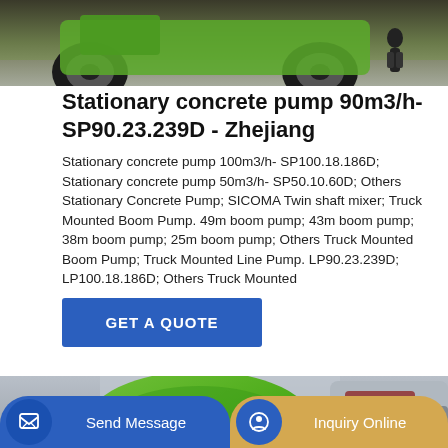[Figure (photo): Green concrete pump machinery / heavy equipment with large tires, person standing nearby, on gravel surface.]
Stationary concrete pump 90m3/h- SP90.23.239D - Zhejiang
Stationary concrete pump 100m3/h- SP100.18.186D; Stationary concrete pump 50m3/h- SP50.10.60D; Others Stationary Concrete Pump; SICOMA Twin shaft mixer; Truck Mounted Boom Pump. 49m boom pump; 43m boom pump; 38m boom pump; 25m boom pump; Others Truck Mounted Boom Pump; Truck Mounted Line Pump. LP90.23.239D; LP100.18.186D; Others Truck Mounted
[Figure (other): Button: GET A QUOTE on blue background]
[Figure (photo): Green concrete mixer truck cab and drum, parked near a concrete wall.]
[Figure (other): Bottom navigation bar with Send Message (blue) and Inquiry Online (gold) buttons]